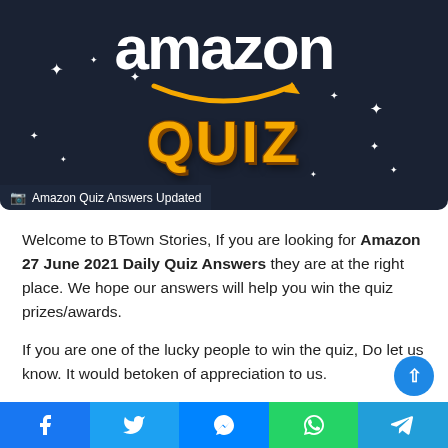[Figure (screenshot): Amazon Quiz promotional banner with dark navy background, Amazon logo text in white, orange smile arrow, and golden 3D 'QUIZ' text with sparkle effects]
Amazon Quiz Answers Updated
Welcome to BTown Stories, If you are looking for Amazon 27 June 2021 Daily Quiz Answers they are at the right place. We hope our answers will help you win the quiz prizes/awards.
If you are one of the lucky people to win the quiz, Do let us know. It would betoken of appreciation to us.